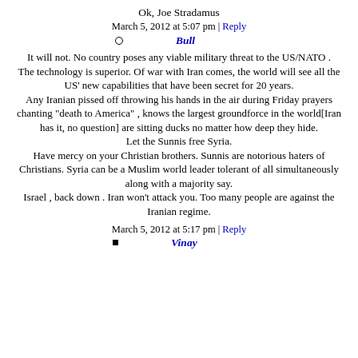Ok, Joe Stradamus
March 5, 2012 at 5:07 pm | Reply
Bull
It will not. No country poses any viable military threat to the US/NATO . The technology is superior. Of war with Iran comes, the world will see all the US' new capabilities that have been secret for 20 years. Any Iranian pissed off throwing his hands in the air during Friday prayers chanting "death to America" , knows the largest groundforce in the world[Iran has it, no question] are sitting ducks no matter how deep they hide. Let the Sunnis free Syria. Have mercy on your Christian brothers. Sunnis are notorious haters of Christians. Syria can be a Muslim world leader tolerant of all simultaneously along with a majority say. Israel , back down . Iran won't attack you. Too many people are against the Iranian regime.
March 5, 2012 at 5:17 pm | Reply
Vinay